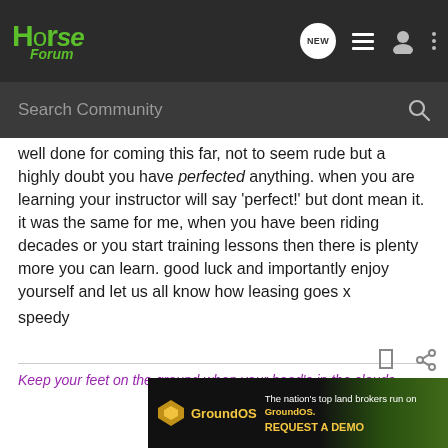Horse Forum — navigation bar with logo, NEW, list, user, and more icons
Search Community
well done for coming this far, not to seem rude but a highly doubt you have perfected anything. when you are learning your instructor will say 'perfect!' but dont mean it. it was the same for me, when you have been riding decades or you start training lessons then there is plenty more you can learn. good luck and importantly enjoy yourself and let us all know how leasing goes x
speedy
Keep your feet on the ground when your head's in the clouds.
[Figure (other): GroundOS advertisement banner: The nation's top land brokers run on GroundOS. REQUEST A DEMO]